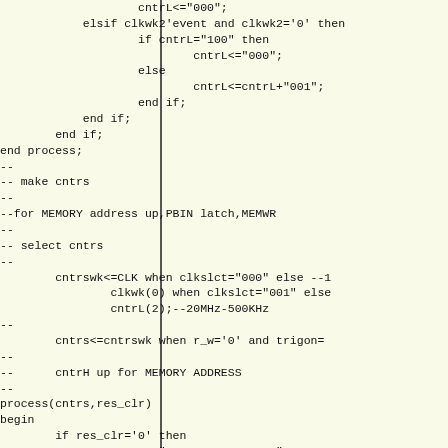VHDL/HDL source code fragment showing counter logic with process blocks, conditional statements, and signal assignments